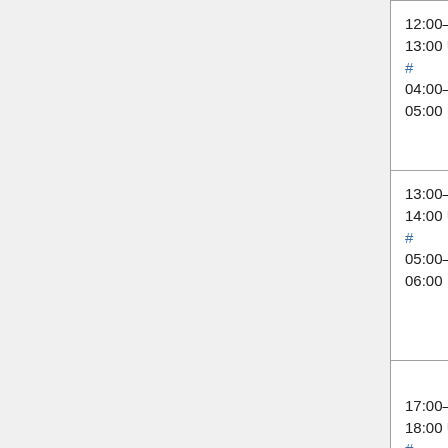| Time | Event | Person |
| --- | --- | --- |
| 12:00–13:00 UTC # 04:00–05:00 PST | Pre MediaWiki train sanity break |  |
| 13:00–14:00 UTC # 05:00–06:00 PST | Mediawiki train - Europeam Version | James (Jame... Jeena (longm... |
| 17:00–18:00 UTC # 09:00–... | Puppet SWAT (Max 6 patches) | Filippo (godo... Giuseppe (_j... |